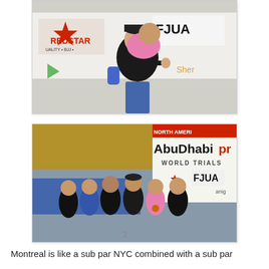[Figure (photo): Two people posing playfully in front of a backdrop with logos including REDSTAR BJJ and FJUA (Brazilian Jiu-Jitsu Association). A man in a black hoodie gives a thumbs up while a woman in a pink top leans on his back.]
[Figure (photo): Group of six people posing together in front of an Abu Dhabi Pro World Trials banner with FJUA logo and Red Star logo. Several competitors wearing medals, in a sports arena setting.]
Montreal is like a sub par NYC combined with a sub par